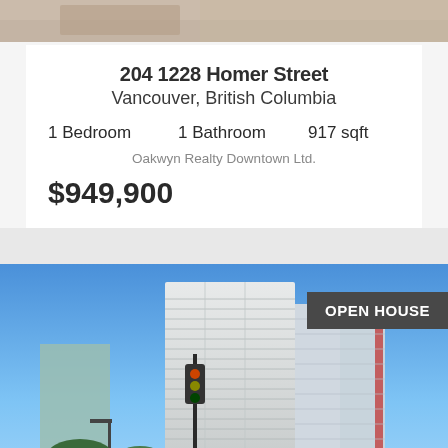[Figure (photo): Top portion of an interior photo (partially cropped), showing a room interior]
204 1228 Homer Street
Vancouver, British Columbia
1 Bedroom   1 Bathroom   917 sqft
Oakwyn Realty Downtown Ltd.
$949,900
[Figure (photo): Exterior photo of a tall condominium building with blue sky background; an 'OPEN HOUSE' banner overlay in the top right corner]